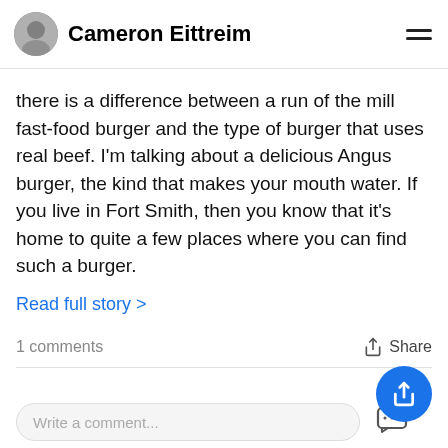Cameron Eittreim
there is a difference between a run of the mill fast-food burger and the type of burger that uses real beef. I'm talking about a delicious Angus burger, the kind that makes your mouth water. If you live in Fort Smith, then you know that it's home to quite a few places where you can find such a burger.
Read full story >
1 comments   Share
Fort Smith, AR  3 days ago
Where To Find Authentic Nachos In...